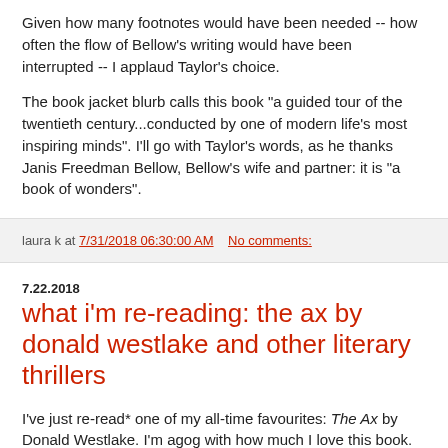Given how many footnotes would have been needed -- how often the flow of Bellow's writing would have been interrupted -- I applaud Taylor's choice.
The book jacket blurb calls this book "a guided tour of the twentieth century...conducted by one of modern life's most inspiring minds". I'll go with Taylor's words, as he thanks Janis Freedman Bellow, Bellow's wife and partner: it is "a book of wonders".
laura k at 7/31/2018 06:30:00 AM    No comments:
7.22.2018
what i'm re-reading: the ax by donald westlake and other literary thrillers
I've just re-read* one of my all-time favourites: The Ax by Donald Westlake. I'm agog with how much I love this book. But first, the requisite blather.